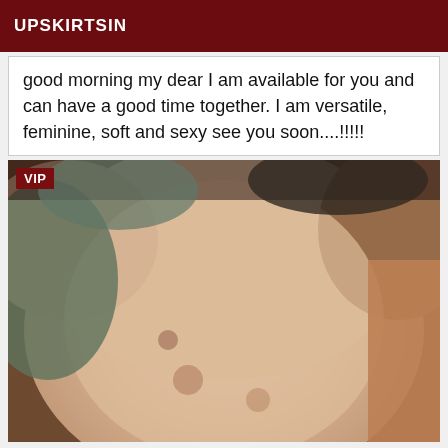UPSKIRTSIN
good morning my dear I am available for you and can have a good time together. I am versatile, feminine, soft and sexy see you soon....!!!!!
[Figure (photo): Blurred close-up photo of a person's torso, with a VIP badge in the upper left corner]